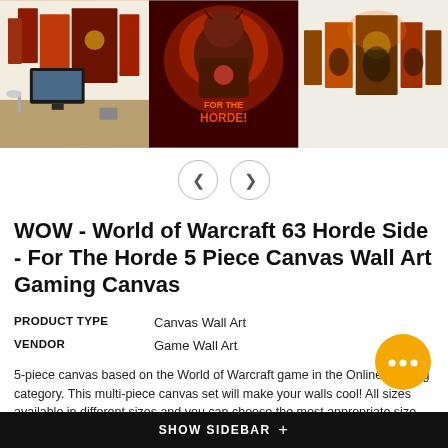[Figure (photo): Three product images of World of Warcraft 5-piece canvas wall art. Left: canvas panels displayed on a wall above a desk setup. Center: close-up of the 'For The Horde!' artwork in red tones. Right: Five-panel canvas showing Horde characters against a green/orange background.]
[Figure (other): Navigation left and right arrow buttons for the image carousel]
WOW - World of Warcraft 63 Horde Side - For The Horde 5 Piece Canvas Wall Art Gaming Canvas
| PRODUCT TYPE | Canvas Wall Art |
| VENDOR | Game Wall Art |
5-piece canvas based on the World of Warcraft game in the Online Gaming category. This multi-piece canvas set will make your walls cool! All sizes available in different sizes and you can choose the most appropriate size for your
SHOW SIDEBAR +